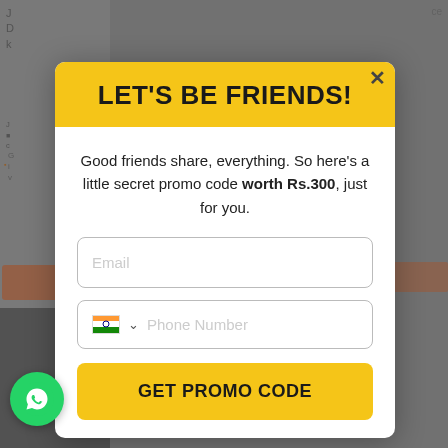[Figure (screenshot): Website background partially visible behind modal overlay, with blurred article text and navigation elements on the left side]
LET'S BE FRIENDS!
Good friends share, everything. So here's a little secret promo code worth Rs.300, just for you.
Email (input placeholder)
Phone Number (input placeholder with India flag and dropdown)
GET PROMO CODE